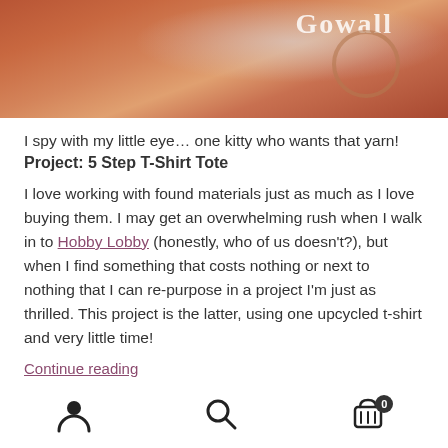[Figure (photo): Close-up photo of a t-shirt with a 'Gowall' logo/text visible, in warm orange/brown tones]
I spy with my little eye… one kitty who wants that yarn!
Project: 5 Step T-Shirt Tote
I love working with found materials just as much as I love buying them. I may get an overwhelming rush when I walk in to Hobby Lobby (honestly, who of us doesn't?), but when I find something that costs nothing or next to nothing that I can re-purpose in a project I'm just as thrilled. This project is the latter, using one upcycled t-shirt and very little time!
Continue reading
Navigation bar with user icon, search icon, and cart icon with badge 0